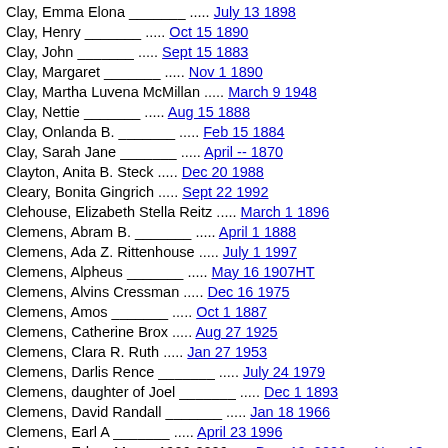Clay, Emma Elona _______ ..... July 13 1898
Clay, Henry _______ ..... Oct 15 1890
Clay, John _______ ..... Sept 15 1883
Clay, Margaret _______ ..... Nov 1 1890
Clay, Martha Luvena McMillan ..... March 9 1948
Clay, Nettie _______ ..... Aug 15 1888
Clay, Onlanda B. _______ ..... Feb 15 1884
Clay, Sarah Jane _______ ..... April -- 1870
Clayton, Anita B. Steck ..... Dec 20 1988
Cleary, Bonita Gingrich ..... Sept 22 1992
Clehouse, Elizabeth Stella Reitz ..... March 1 1896
Clemens, Abram B. _______ ..... April 1 1888
Clemens, Ada Z. Rittenhouse ..... July 1 1997
Clemens, Alpheus _______ ..... May 16 1907HT
Clemens, Alvins Cressman ..... Dec 16 1975
Clemens, Amos _______ ..... Oct 1 1887
Clemens, Catherine Brox ..... Aug 27 1925
Clemens, Clara R. Ruth ..... Jan 27 1953
Clemens, Darlis Rence _______ ..... July 24 1979
Clemens, daughter of Joel _______ ..... Dec 1 1893
Clemens, David Randall _______ ..... Jan 18 1966
Clemens, Earl A _______ ..... April 23 1996
Clemens, Edgar M. ..... 1926-2006 ..... Dec. 19, 2006 ..... Nov. 13, 2006w
Clemens, Eli _______ ..... May -- 1879
Clemens, Eliza ..... Dec 2 1920